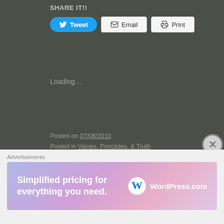SHARE IT!!
[Figure (screenshot): Social sharing buttons: Tweet (blue rounded), Email (white outlined), Print (white outlined)]
Loading...
Posted on 07/08/2010
Posted in Values, Principles, & Truth
Tagged Bull Durham, Christ, Christ Jesus, Christianity, Fruit of the Holy Spirit, God, Golden Rule, James Earl Jones, Jesu, Jesus, Jesus Christ, John 3:16, Kevin Costner, longsuffering, Matthew 7:12, patience, salvation, The Fruits of the Spirit Leave a comment
50 REASONS CHRIST CAME TO DIE
Advertisements
[Figure (screenshot): WordPress.com advertisement banner: 'Simplified pricing for everything you need.' with WordPress.com logo on gradient purple/pink background]